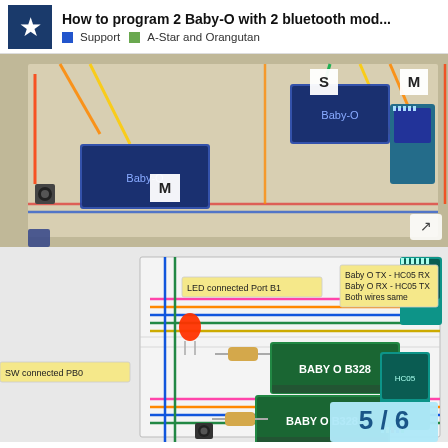How to program 2 Baby-O with 2 bluetooth mod... | Support | A-Star and Orangutan
[Figure (photo): Photo of a breadboard with two Baby-O B328 microcontroller boards and Bluetooth HC-05 modules connected with colored wires. Labels 'S' and 'M' are visible on paper cards.]
[Figure (schematic): Wiring diagram showing two BABY O B328 boards connected to two HC-05 Bluetooth modules on a breadboard. Labels indicate: LED connected Port B1, SW connected PB0, Baby O TX - HC05 RX, Baby O RX - HC05 TX, Both wires same. Page indicator 5/6 shown at bottom right.]